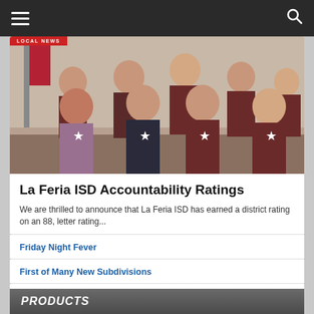Navigation bar with hamburger menu and search icon
[Figure (photo): Group photo of several people in maroon/dark red shirts holding white star-shaped items, standing indoors. A red 'LOCAL NEWS' banner appears at the top left of the image.]
La Feria ISD Accountability Ratings
We are thrilled to announce that La Feria ISD has earned a district rating on an 88, letter rating...
Friday Night Fever
First of Many New Subdivisions
PRODUCTS
[Figure (photo): Thumbnail image of stacked newspaper/magazine issues for summer subscription]
Summer subscription to La Feria News
$12.00